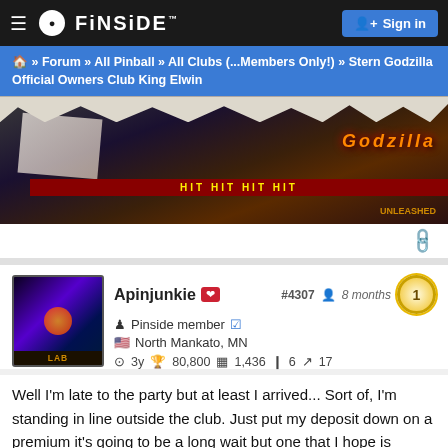☰ FINSIDE  Sign in
🏠 » Forum » All Pinball » All Clubs (...Members Only!) » Stern Godzilla Official Owners Club King Elwin
[Figure (photo): Pinball machine photo showing Godzilla themed pinball machine artwork with torn paper at top and colorful artwork]
Apinjunkie ❤ #4307 👤 8 months [badge:1] Pinside member ✓ North Mankato, MN ⊙ 3y 🏆 80,800 📋 1,436 ❙6 ↗17
Well I'm late to the party but at least I arrived... Sort of, I'm standing in line outside the club. Just put my deposit down on a premium it's going to be a long wait but one that I hope is definitely worth it.Feels good.